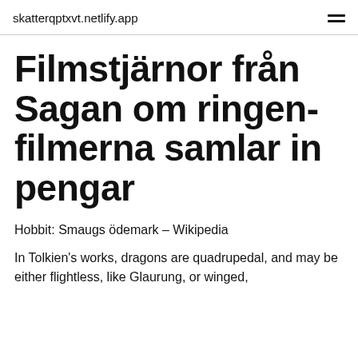skatterqptxvt.netlify.app
Filmstjärnor från Sagan om ringen-filmerna samlar in pengar
Hobbit: Smaugs ödemark – Wikipedia
In Tolkien's works, dragons are quadrupedal, and may be either flightless, like Glaurung, or winged,